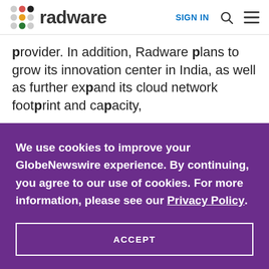radware | SIGN IN
provider. In addition, Radware plans to grow its innovation center in India, as well as further expand its cloud network footprint and capacity,
We use cookies to improve your GlobeNewswire experience. By continuing, you agree to our use of cookies. For more information, please see our Privacy Policy.
ACCEPT